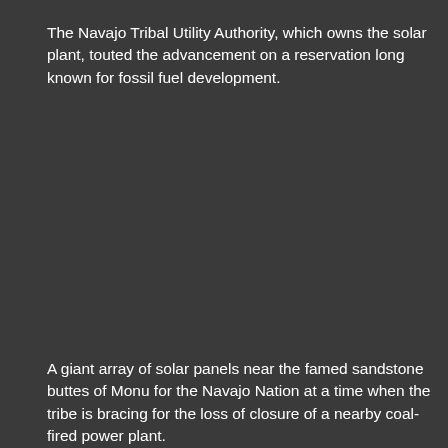The Navajo Tribal Utility Authority, which owns the solar plant, touted the advancement on a reservation long known for fossil fuel development.
A giant array of solar panels near the famed sandstone buttes of Monument Valley represents a new economic lifeline for the Navajo Nation at a time when the tribe is bracing for the loss of hundreds of jobs and millions of dollars in revenue from the closure of a nearby coal-fired power plant.